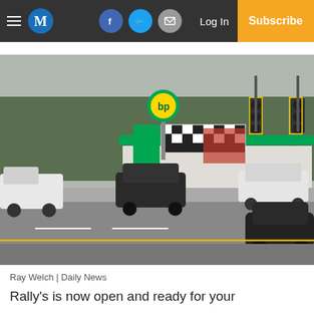M | Log In | Subscribe
[Figure (photo): Street-level photo of a Rally's fast food restaurant with a BP gas station canopy, traffic lights, and cars on the road in front.]
Ray Welch | Daily News
Rally's is now open and ready for your